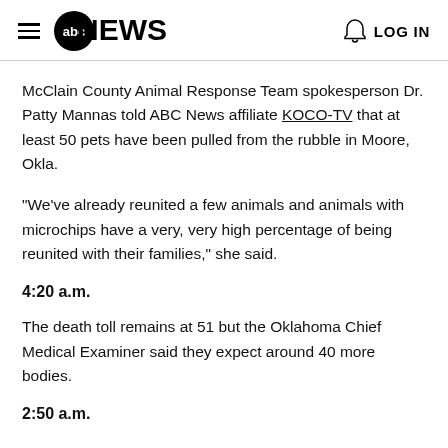abc NEWS | LOG IN
McClain County Animal Response Team spokesperson Dr. Patty Mannas told ABC News affiliate KOCO-TV that at least 50 pets have been pulled from the rubble in Moore, Okla.
"We've already reunited a few animals and animals with microchips have a very, very high percentage of being reunited with their families," she said.
4:20 a.m.
The death toll remains at 51 but the Oklahoma Chief Medical Examiner said they expect around 40 more bodies.
2:50 a.m.